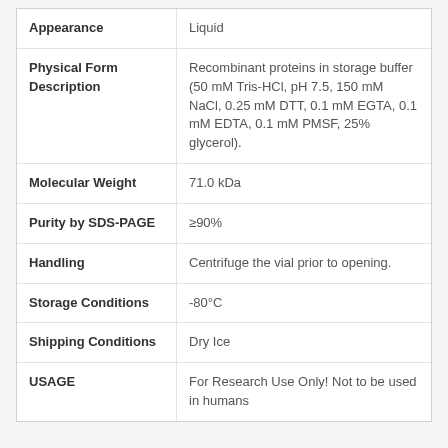| Property | Value |
| --- | --- |
| Appearance | Liquid |
| Physical Form Description | Recombinant proteins in storage buffer (50 mM Tris-HCl, pH 7.5, 150 mM NaCl, 0.25 mM DTT, 0.1 mM EGTA, 0.1 mM EDTA, 0.1 mM PMSF, 25% glycerol). |
| Molecular Weight | 71.0 kDa |
| Purity by SDS-PAGE | ≥90% |
| Handling | Centrifuge the vial prior to opening. |
| Storage Conditions | -80°C |
| Shipping Conditions | Dry Ice |
| USAGE | For Research Use Only! Not to be used in humans |